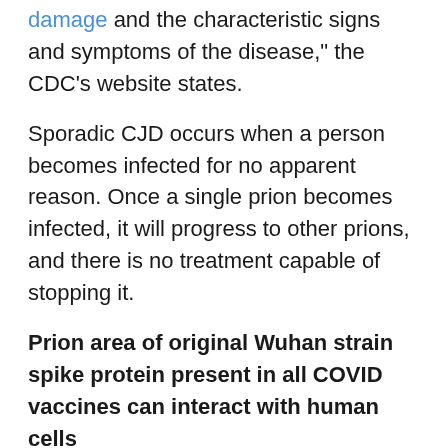damage and the characteristic signs and symptoms of the disease," the CDC's website states.
Sporadic CJD occurs when a person becomes infected for no apparent reason. Once a single prion becomes infected, it will progress to other prions, and there is no treatment capable of stopping it.
Prion area of original Wuhan strain spike protein present in all COVID vaccines can interact with human cells
Although the Omicron variant does not have a prion region on its spike protein, French researchers said other COVID-19 variants, including the parent Wuhan strain used in currently administered vaccines, do.
“We are now studying the very first cases of patients with